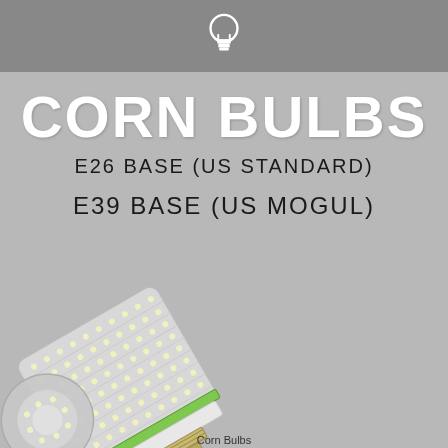[Figure (illustration): Gray header bar with white lightbulb icon]
CORN BULBS
E26 BASE (US STANDARD)
E39 BASE (US MOGUL)
[Figure (photo): LED corn bulb with green ring and E39 screw base, showing dense SMD LED array on cylindrical surface, angled view]
Corn Bulbs